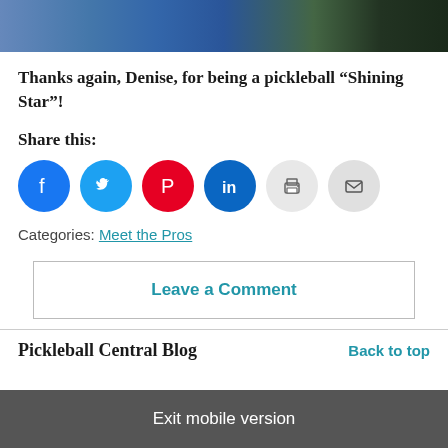[Figure (photo): Partial cropped photo of person wearing blue patterned shirt]
Thanks again, Denise, for being a pickleball “Shining Star”!
Share this:
[Figure (infographic): Row of social sharing icon circles: Facebook (blue), Twitter (light blue), Pinterest (red), LinkedIn (dark blue), Print (light gray), Email (gray)]
Categories: Meet the Pros
Leave a Comment
Pickleball Central Blog
Back to top
Exit mobile version